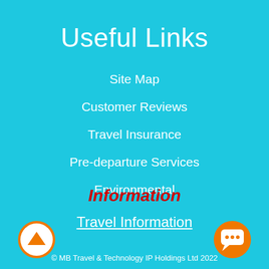Useful Links
Site Map
Customer Reviews
Travel Insurance
Pre-departure Services
Environmental
Information
Travel Information
© MB Travel & Technology IP Holdings Ltd 2022